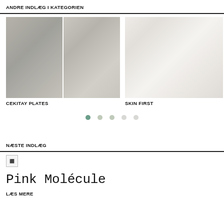ANDRE INDLÆG I KATEGORIEN
[Figure (photo): Two photos side by side: left shows a ribbed grey plate with small decorative objects; right shows white ceramic cup and bowl on grey background. Caption: CEKITAY PLATES]
[Figure (photo): Photo of white skincare product bottles and containers arranged on a light surface. Caption: SKIN FIRST]
CEKITAY PLATES
SKIN FIRST
[Figure (other): Carousel navigation dots: 5 dots, first one dark green/teal, rest grey]
NÆSTE INDLÆG
[Figure (photo): Broken/loading image placeholder]
Pink Molécule
LÆS MERE